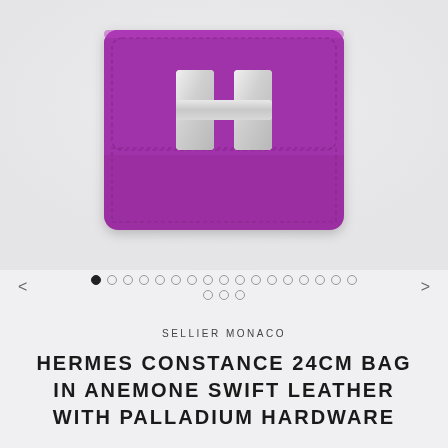[Figure (photo): Hermes Constance 24cm bag in Anemone (purple) Swift leather with silver/palladium H clasp hardware, photographed from front against light grey background, top portion of bag visible]
• ○ ○ ○ ○ ○ ○ ○ ○ ○ ○ ○ ○ ○ ○ ○ ○
○ ○ ○
SELLIER MONACO
HERMES CONSTANCE 24CM BAG IN ANEMONE SWIFT LEATHER WITH PALLADIUM HARDWARE